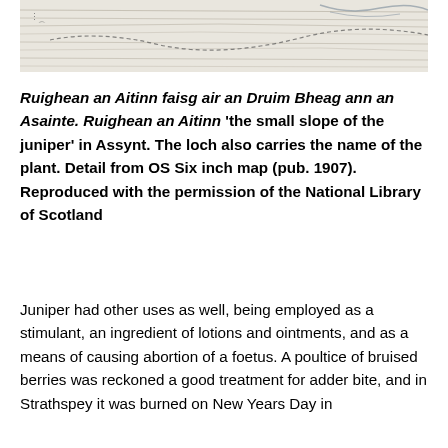[Figure (map): Detail from OS Six inch map (pub. 1907) showing Ruighean an Aitinn area near Druim Bheag in Assynt. Pencil/ink style topographic map with contour lines and place names.]
Ruighean an Aitinn faisg air an Druim Bheag ann an Asainte. Ruighean an Aitinn 'the small slope of the juniper' in Assynt. The loch also carries the name of the plant. Detail from OS Six inch map (pub. 1907). Reproduced with the permission of the National Library of Scotland
Juniper had other uses as well, being employed as a stimulant, an ingredient of lotions and ointments, and as a means of causing abortion of a foetus. A poultice of bruised berries was reckoned a good treatment for adder bite, and in Strathspey it was burned on New Years Day in